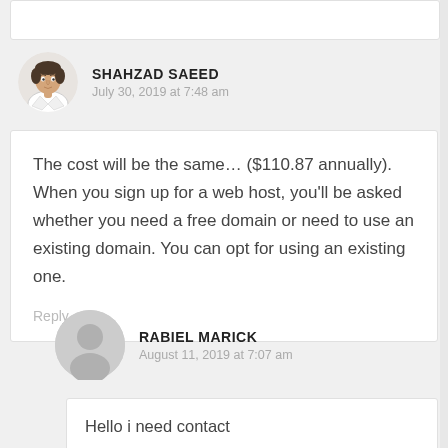[Figure (other): Partial top of a previous comment box (cropped)]
SHAHZAD SAEED
July 30, 2019 at 7:48 am
The cost will be the same… ($110.87 annually). When you sign up for a web host, you'll be asked whether you need a free domain or need to use an existing domain. You can opt for using an existing one.
Reply
RABIEL MARICK
August 11, 2019 at 7:07 am
Hello i need contact